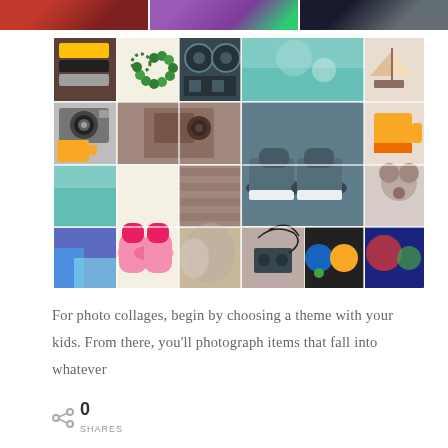[Figure (photo): Partial top strip showing three cropped photos: red/dark tones, purple floral, dark tones]
[Figure (photo): A large photo collage grid featuring vintage-style polaroid photos including cassette tapes, a beaded heart, a reel-to-reel camera, a sailboat, a vintage camera, shoes, a coffee cup, a yellow mug, pink girl shoes, blurry field, tangled tape cassette, a teddy bear, and colorful circles on dark background]
For photo collages, begin by choosing a theme with your kids. From there, you'll photograph items that fall into whatever
0
SHARES